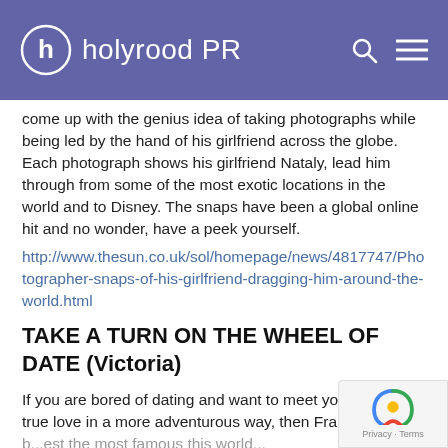holyrood PR
come up with the genius idea of taking photographs while being led by the hand of his girlfriend across the globe. Each photograph shows his girlfriend Nataly, lead him through from some of the most exotic locations in the world and to Disney. The snaps have been a global online hit and no wonder, have a peek yourself.
http://www.thesun.co.uk/sol/homepage/news/4817747/Photographer-snaps-of-his-girlfriend-dragging-him-around-the-world.html
TAKE A TURN ON THE WHEEL OF DATE (Victoria)
If you are bored of dating and want to meet your true love in a more adventurous way, then Fram... a best the most famous this world...